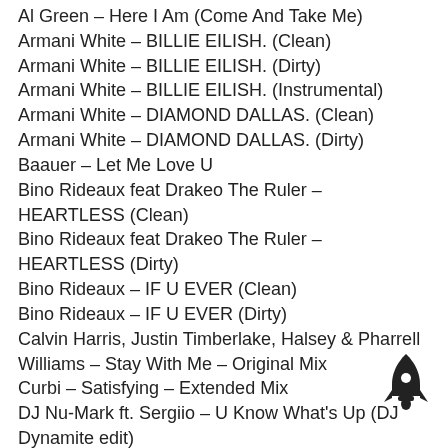Al Green – Here I Am (Come And Take Me)
Armani White – BILLIE EILISH. (Clean)
Armani White – BILLIE EILISH. (Dirty)
Armani White – BILLIE EILISH. (Instrumental)
Armani White – DIAMOND DALLAS. (Clean)
Armani White – DIAMOND DALLAS. (Dirty)
Baauer – Let Me Love U
Bino Rideaux feat Drakeo The Ruler – HEARTLESS (Clean)
Bino Rideaux feat Drakeo The Ruler – HEARTLESS (Dirty)
Bino Rideaux – IF U EVER (Clean)
Bino Rideaux – IF U EVER (Dirty)
Calvin Harris, Justin Timberlake, Halsey & Pharrell Williams – Stay With Me – Original Mix
Curbi – Satisfying – Extended Mix
DJ Nu-Mark ft. Sergiio – U Know What's Up (DJ Dynamite edit)
Drake – Sticky (DJ Mike D Mix) (Clean)
[Figure (illustration): Rocket ship icon in black, bottom right corner]